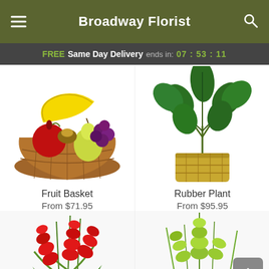Broadway Florist
FREE Same Day Delivery ends in: 07 : 53 : 11
[Figure (photo): Fruit basket filled with bananas, apples, pears, and grapes in a wicker basket]
Fruit Basket
From $71.95
[Figure (photo): Rubber plant with green leaves in a gold woven basket pot]
Rubber Plant
From $95.95
[Figure (photo): Tall arrangement of red gladiolus flowers with green foliage]
[Figure (photo): Green gladiolus and floral arrangement]